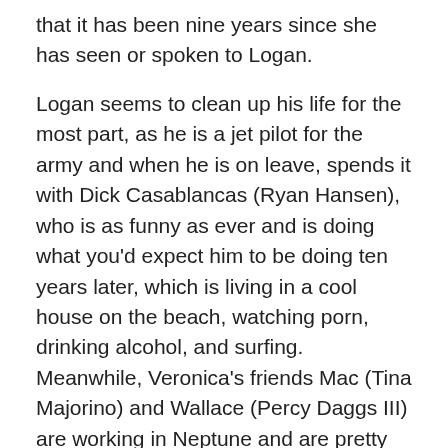that it has been nine years since she has seen or spoken to Logan.
Logan seems to clean up his life for the most part, as he is a jet pilot for the army and when he is on leave, spends it with Dick Casablancas (Ryan Hansen), who is as funny as ever and is doing what you'd expect him to be doing ten years later, which is living in a cool house on the beach, watching porn, drinking alcohol, and surfing. Meanwhile, Veronica's friends Mac (Tina Majorino) and Wallace (Percy Daggs III) are working in Neptune and are pretty successful. They show up to welcome Veronica back for a few days and to convince her to go to their ten year high-school reunion.